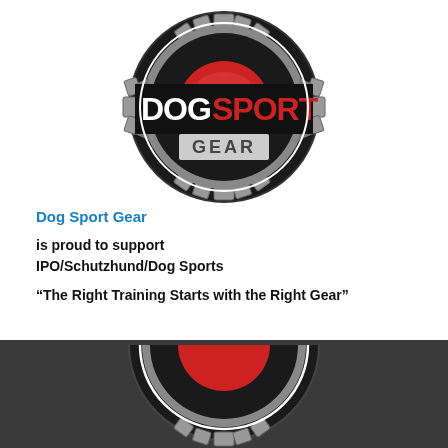[Figure (logo): Dog Sport Gear circular logo with gear/cog design, red center circle, black ring, silver banner with DOG in white bold text and SPORT in red bold text, GEAR text below in silver/white area]
Dog Sport Gear
is proud to support
IPO/Schutzhund/Dog Sports
“The Right Training Starts with the Right Gear”
[Figure (logo): Partial Dog Sport Gear logo (bottom half only) visible on dark gray background, showing the bottom arc of the cog wheel with gray teeth, inner black ring, and red circle bottom portion]